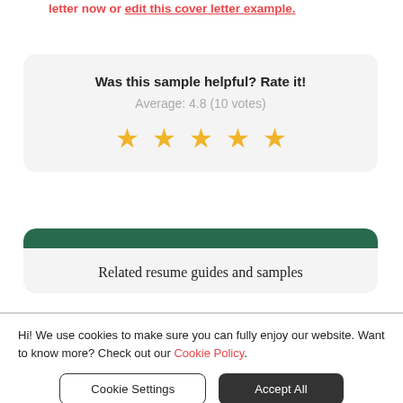letter now or edit this cover letter example.
Was this sample helpful? Rate it!
Average: 4.8 (10 votes)
[Figure (other): Five gold star rating icons displayed horizontally]
Related resume guides and samples
Hi! We use cookies to make sure you can fully enjoy our website. Want to know more? Check out our Cookie Policy.
Cookie Settings | Accept All